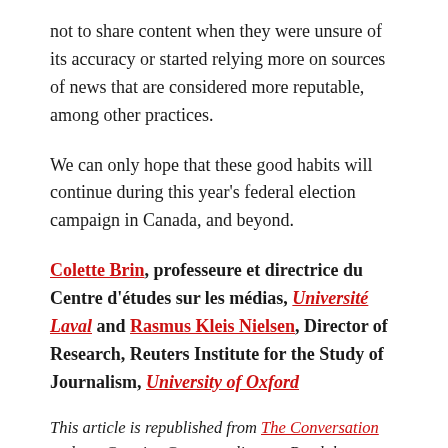not to share content when they were unsure of its accuracy or started relying more on sources of news that are considered more reputable, among other practices.
We can only hope that these good habits will continue during this year's federal election campaign in Canada, and beyond.
Colette Brin, professeure et directrice du Centre d'études sur les médias, Université Laval and Rasmus Kleis Nielsen, Director of Research, Reuters Institute for the Study of Journalism, University of Oxford
This article is republished from The Conversation under a Creative Commons license. Read the original article here.